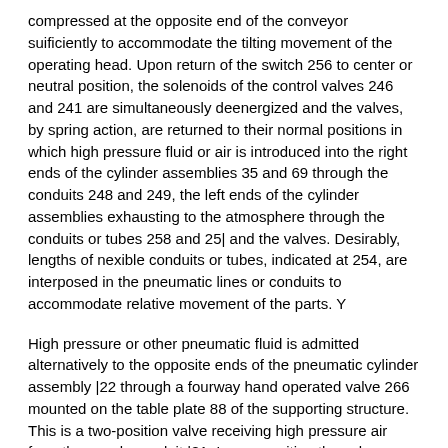compressed at the opposite end of the conveyor sufficiently to accommodate the tilting movement of the operating head. Upon return of the switch 256 to center or neutral position, the solenoids of the control valves 246 and 241 are simultaneously deenergized and the valves, by spring action, are returned to their normal positions in which high pressure fluid or air is introduced into the right ends of the cylinder assemblies 35 and 69 through the conduits 248 and 249, the left ends of the cylinder assemblies exhausting to the atmosphere through the conduits or tubes 258 and 25| and the valves. Desirably, lengths of nexible conduits or tubes, indicated at 254, are interposed in the pneumatic lines or conduits to accommodate relative movement of the parts. Y
High pressure or other pneumatic fluid is admitted alternatively to the opposite ends of the pneumatic cylinder assembly |22 through a fourway hand operated valve 266 mounted on the table plate 88 of the supporting structure. This is a two-position valve receiving high pressure air from the supply conduit |81. In one position the valve connects the high pressure air supply to the right hand end of the cylinder assembly |22 through the tubular conduit